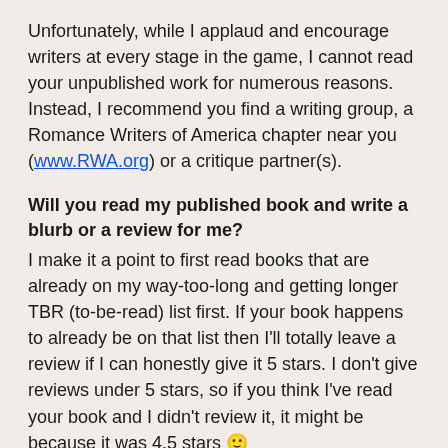Unfortunately, while I applaud and encourage writers at every stage in the game, I cannot read your unpublished work for numerous reasons. Instead, I recommend you find a writing group, a Romance Writers of America chapter near you (www.RWA.org) or a critique partner(s).
Will you read my published book and write a blurb or a review for me?
I make it a point to first read books that are already on my way-too-long and getting longer TBR (to-be-read) list first. If your book happens to already be on that list then I'll totally leave a review if I can honestly give it 5 stars. I don't give reviews under 5 stars, so if you think I've read your book and I didn't review it, it might be because it was 4.5 stars 🙂
If we're friends on Twitter and/or Facebook and you have a new book coming out, I might offer to blurb it for you,